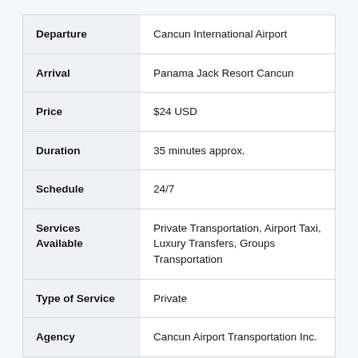| Field | Value |
| --- | --- |
| Departure | Cancun International Airport |
| Arrival | Panama Jack Resort Cancun |
| Price | $24 USD |
| Duration | 35 minutes approx. |
| Schedule | 24/7 |
| Services Available | Private Transportation, Airport Taxi, Luxury Transfers, Groups Transportation |
| Type of Service | Private |
| Agency | Cancun Airport Transportation Inc. |